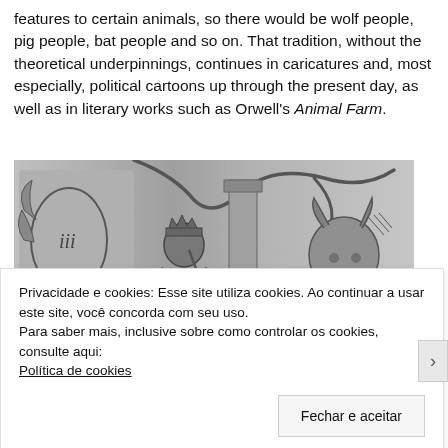features to certain animals, so there would be wolf people, pig people, bat people and so on. That tradition, without the theoretical underpinnings, continues in caricatures and, most especially, political cartoons up through the present day, as well as in literary works such as Orwell's Animal Farm.
[Figure (illustration): A black and white engraving depicting fantastical animal-human hybrid creatures in a decorative architectural setting, with serpents, a crowned figure holding a scepter, and bull-headed creatures playing instruments.]
Privacidade e cookies: Esse site utiliza cookies. Ao continuar a usar este site, você concorda com seu uso.
Para saber mais, inclusive sobre como controlar os cookies, consulte aqui:
Política de cookies
Fechar e aceitar